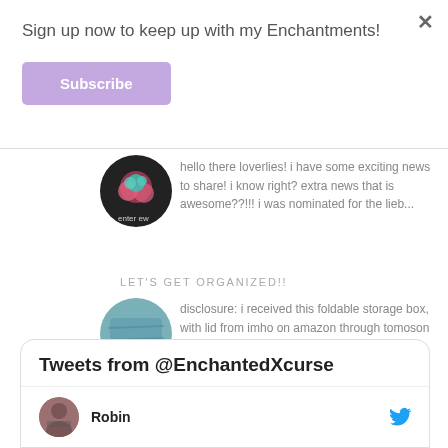Sign up now to keep up with my Enchantments!
Subscribe
hello there loverlies! i have some exciting news to share! i know right? extra news that is awesome??!!! i was nominated for the lieb...
LET'S GET ORGANIZED!!
disclosure: i received this foldable storage box, with lid from imho on amazon through tomoson the imho store on amazon has some very cute ...
Tweets from @EnchantedXcurse
Robin